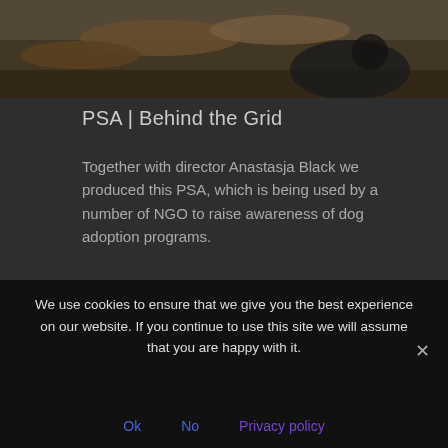[Figure (photo): Top portion of an outdoor photo showing logs and a dog, dark nature scene background]
PSA | Behind the Grid
Together with director Anastasja Black we produced this PSA, which is being used by a number of NGO to raise awareness of dog adoption programs.
Our Job: Preproduction, Production and VFX
[Figure (photo): Partially visible bottom photo showing robotic or industrial equipment with circular elements and green accents]
We use cookies to ensure that we give you the best experience on our website. If you continue to use this site we will assume that you are happy with it.
Ok   No   Privacy policy